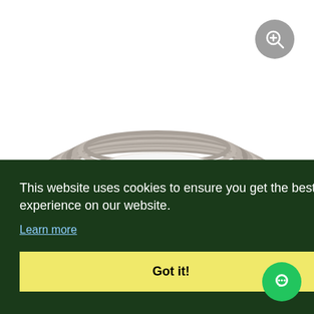[Figure (photo): A coil of metallic tubing or brake line pipe wound in a circular coil, photographed on a white background.]
This website uses cookies to ensure you get the best experience on our website.
Learn more
Got it!